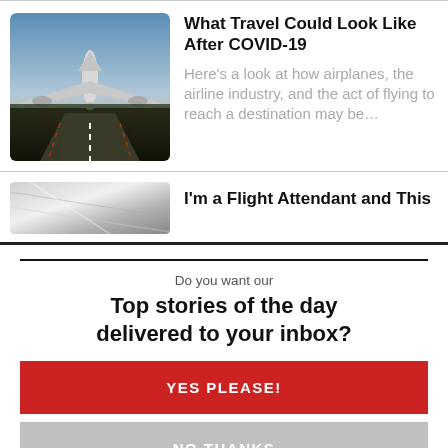[Figure (photo): Airplane seen from below on a runway at dusk/sunset, perspective looking up at the plane from the tarmac]
What Travel Could Look Like After COVID-19
Here's a look at how airplanes, the airline industry, and the act of flying to reach a destination may be...
[Figure (photo): Partial image of aircraft exterior, metallic surface, cropped]
I'm a Flight Attendant and This
Do you want our
Top stories of the day delivered to your inbox?
YES PLEASE!
NO THANKS